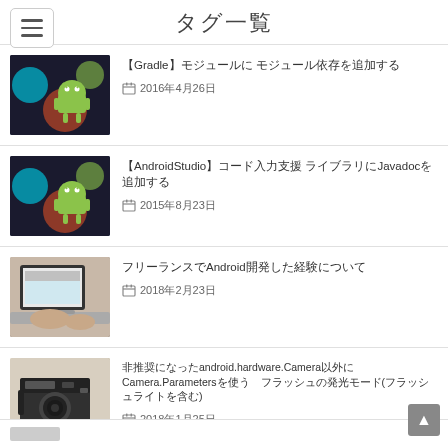タグ一覧
【Gradle】モジュールに モジュール依存を追加する
2016年4月26日
【AndroidStudio】コード入力支援 ライブラリにJavadocを追加する
2015年8月23日
フリーランスでAndroid開発した経験について
2018年2月23日
非推奨になったandroid.hardware.Camera以外にCamera.Parametersを使う　フラッシュの発光モード(フラッシュライトを含む)
2018年1月25日